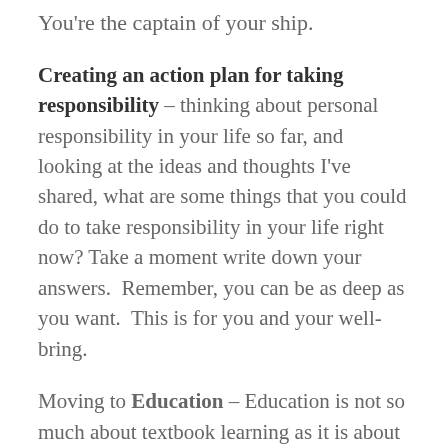You're the captain of your ship.
Creating an action plan for taking responsibility – thinking about personal responsibility in your life so far, and looking at the ideas and thoughts I've shared, what are some things that you could do to take responsibility in your life right now? Take a moment write down your answers.  Remember, you can be as deep as you want.  This is for you and your well-bring.
Moving to Education – Education is not so much about textbook learning as it is about the process of self-discovery period getting to know